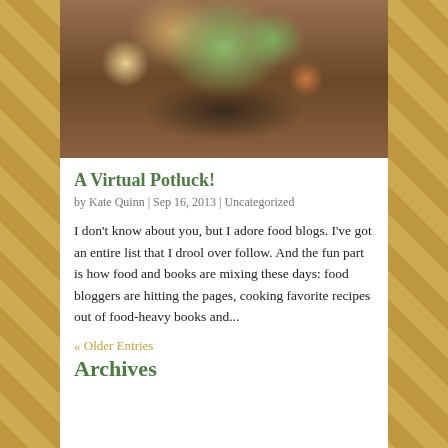[Figure (photo): Food photo showing bread, green grapes, and a dipping sauce on a dark serving board on a wooden table]
A Virtual Potluck!
by Kate Quinn | Sep 16, 2013 | Uncategorized
I don't know about you, but I adore food blogs. I've got an entire list that I drool over follow. And the fun part is how food and books are mixing these days: food bloggers are hitting the pages, cooking favorite recipes out of food-heavy books and...
« Older Entries
Archives